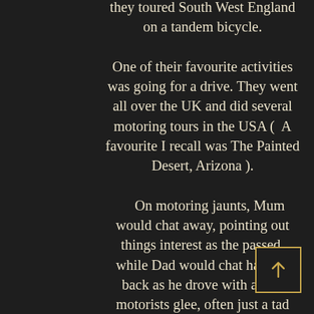they toured South West England on a tandem bicycle.

One of their favourite activities was going for a drive. They went all over the UK and did several motoring tours in the USA ( A favourite I recall was The Painted Desert, Arizona ).

On motoring jaunts, Mum would chat away, pointing out things interest as the passed, while Dad would chat happily back as he drove with a true motorists glee, often just a tad over the speed limit. More recently, Dad and I had a fun-packed ‘petrol-head’ day when we visited the Morgan factory and when I took him